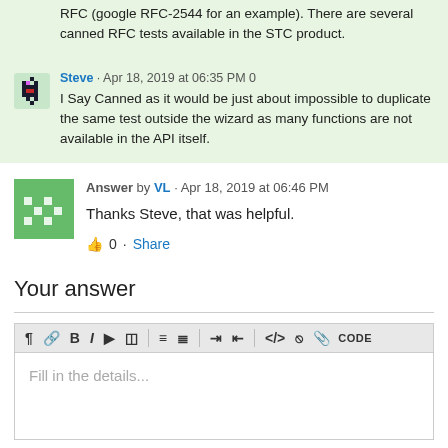RFC (google RFC-2544 for an example). There are several canned RFC tests available in the STC product.
Steve · Apr 18, 2019 at 06:35 PM 0
I Say Canned as it would be just about impossible to duplicate the same test outside the wizard as many functions are not available in the API itself.
Answer by VL · Apr 18, 2019 at 06:46 PM
Thanks Steve, that was helpful.
👍 0 · Share
Your answer
[Figure (screenshot): Text editor toolbar with formatting buttons: paragraph, link, bold, italic, video, table, bullet list, numbered list, indent, outdent, code block, image, attachment, CODE]
Fill in the details...
Hint: You can notify a user about this post by typing @username